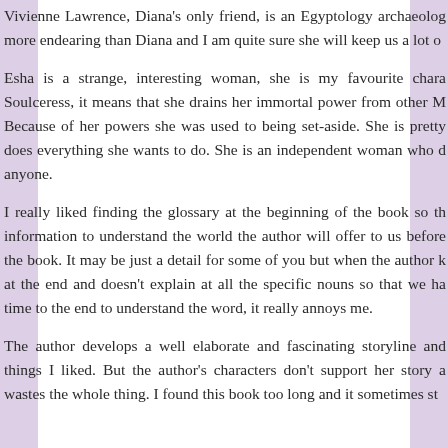Vivienne Lawrence, Diana's only friend, is an Egyptology archaeolog more endearing than Diana and I am quite sure she will keep us a lot o
Esha is a strange, interesting woman, she is my favourite chara Soulceress, it means that she drains her immortal power from other M Because of her powers she was used to being set-aside. She is pretty does everything she wants to do. She is an independent woman who d anyone.
I really liked finding the glossary at the beginning of the book so th information to understand the world the author will offer to us before the book. It may be just a detail for some of you but when the author k at the end and doesn't explain at all the specific nouns so that we ha time to the end to understand the word, it really annoys me.
The author develops a well elaborate and fascinating storyline and things I liked. But the author's characters don't support her story a wastes the whole thing. I found this book too long and it sometimes st